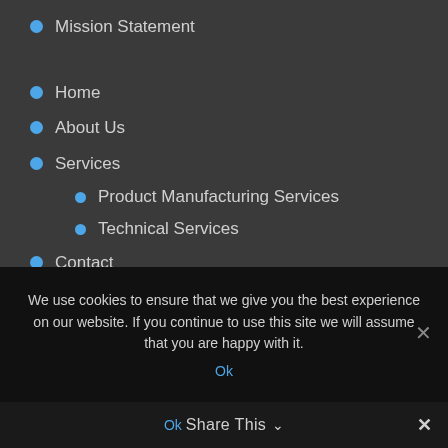Mission Statement
Home
About Us
Services
Product Manufacturing Services
Technical Services
Contact
Blog
Innomech
We use cookies to ensure that we give you the best experience on our website. If you continue to use this site we will assume that you are happy with it.
Ok
Share This